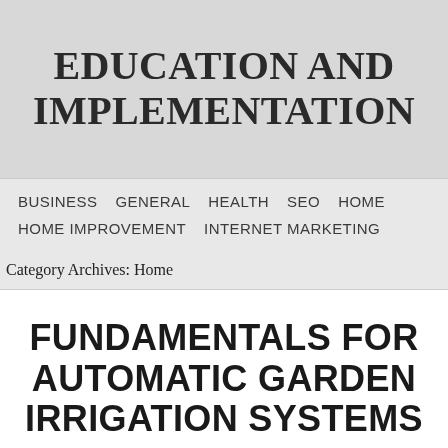EDUCATION AND IMPLEMENTATION
BUSINESS   GENERAL   HEALTH   SEO   HOME   HOME IMPROVEMENT   INTERNET MARKETING
Category Archives: Home
FUNDAMENTALS FOR AUTOMATIC GARDEN IRRIGATION SYSTEMS